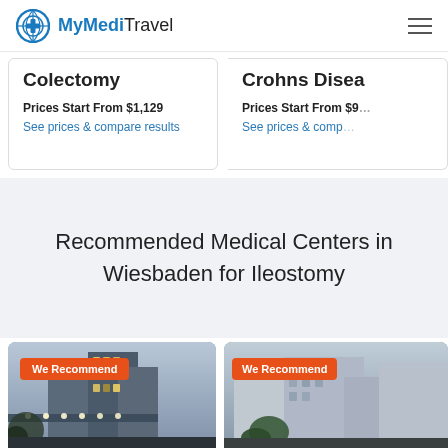MyMediTravel
Colectomy
Prices Start From $1,129
See prices & compare results
Crohns Disea...
Prices Start From $9...
See prices & comp...
Recommended Medical Centers in Wiesbaden for Ileostomy
[Figure (photo): Medical center building exterior at dusk with lights, We Recommend badge]
[Figure (photo): Medical center building exterior, We Recommend badge]